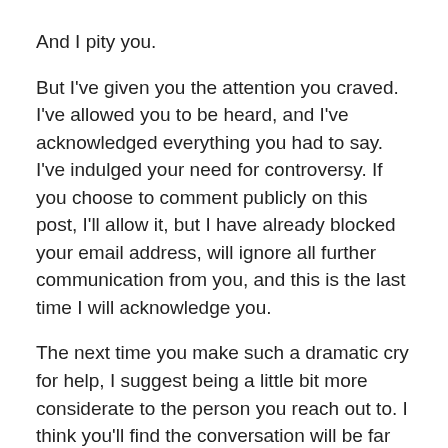And I pity you.
But I've given you the attention you craved.  I've allowed you to be heard, and I've acknowledged everything you had to say.  I've indulged your need for controversy.  If you choose to comment publicly on this post, I'll allow it, but I have already blocked your email address, will ignore all further communication from you, and this is the last time I will acknowledge you.
The next time you make such a dramatic cry for help, I suggest being a little bit more considerate to the person you reach out to.  I think you'll find the conversation will be far more constructive.
I genuinely hope you find the help you're so desperate for, and I hope you're able to find the happiness that has